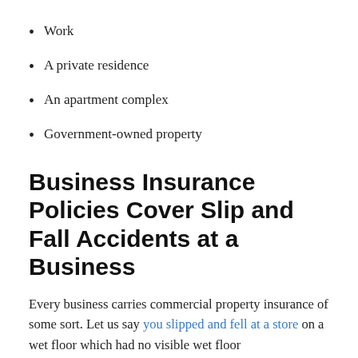Work
A private residence
An apartment complex
Government-owned property
Business Insurance Policies Cover Slip and Fall Accidents at a Business
Every business carries commercial property insurance of some sort. Let us say you slipped and fell at a store on a wet floor which had no visible wet floor